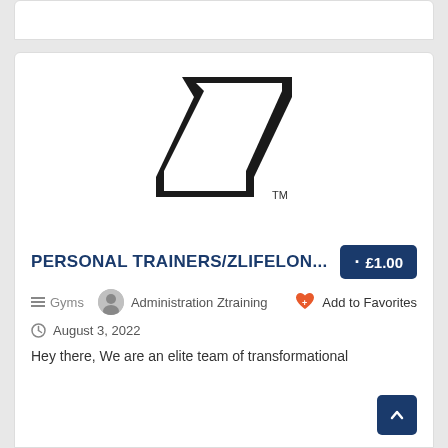[Figure (logo): Ztraining logo — stylized Z shape in black with TM mark]
PERSONAL TRAINERS/ZLIFELON... · £1.00
Gyms   Administration Ztraining   Add to Favorites
August 3, 2022
Hey there, We are an elite team of transformational